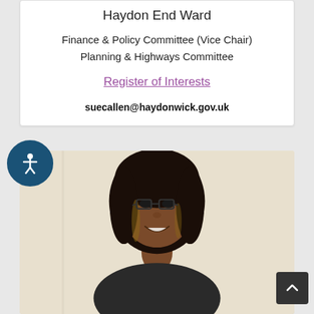Haydon End Ward
Finance & Policy Committee (Vice Chair)
Planning & Highways Committee
Register of Interests
suecallen@haydonwick.gov.uk
[Figure (photo): Headshot photo of a woman with glasses and dark hair, smiling, against a light beige/cream background.]